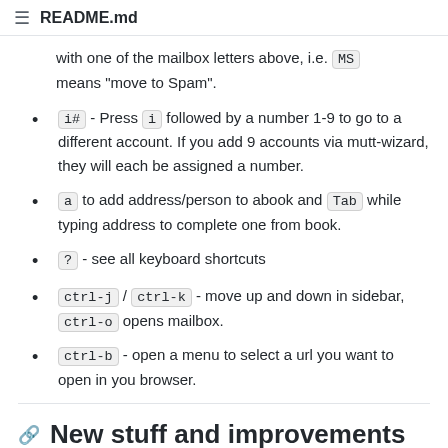README.md
with one of the mailbox letters above, i.e. MS means "move to Spam".
i# - Press i followed by a number 1-9 to go to a different account. If you add 9 accounts via mutt-wizard, they will each be assigned a number.
a to add address/person to abook and Tab while typing address to complete one from book.
? - see all keyboard shortcuts
ctrl-j / ctrl-k - move up and down in sidebar, ctrl-o opens mailbox.
ctrl-b - open a menu to select a url you want to open in you browser.
New stuff and improvements since the original release